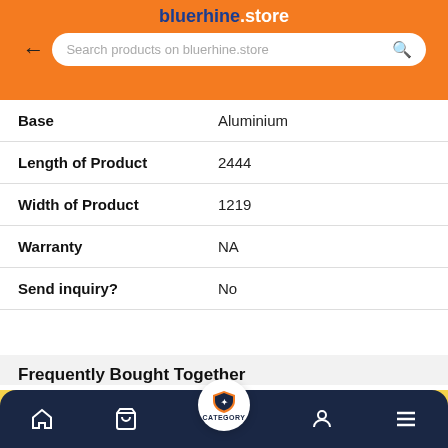bluerhine.store — Search products on bluerhine.store
| Property | Value |
| --- | --- |
| Base | Aluminium |
| Length of Product | 2444 |
| Width of Product | 1219 |
| Warranty | NA |
| Send inquiry? | No |
Frequently Bought Together
SEND ENQUIRY
Home | Cart | CATEGORY | Account | Menu